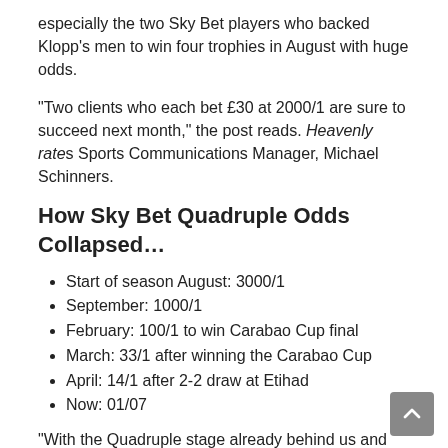especially the two Sky Bet players who backed Klopp's men to win four trophies in August with huge odds.
“Two clients who each bet £30 at 2000/1 are sure to succeed next month,” the post reads. Heavenly rates Sports Communications Manager, Michael Schinners.
How Sky Bet Quadruple Odds Collapsed…
Start of season August: 3000/1
September: 1000/1
February: 100/1 to win Carabao Cup final
March: 33/1 after winning the Carabao Cup
April: 14/1 after 2-2 draw at Etihad
Now: 01/07
“With the Quadruple stage already behind us and the second final confirmed, Liverpool fans will be very excited. The current odds on the last three trophies won are now just 7/1. »